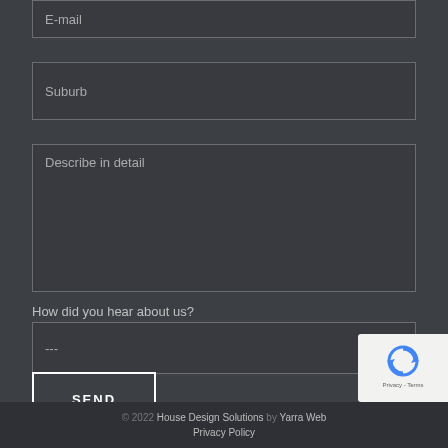E-mail
Suburb
Describe in detail
How did you hear about us?
---
SEND
© 2022 House Design Solutions by Yarra Web Privacy Policy
[Figure (other): reCAPTCHA badge with recycling icon, 'Privacy - Terms' text]